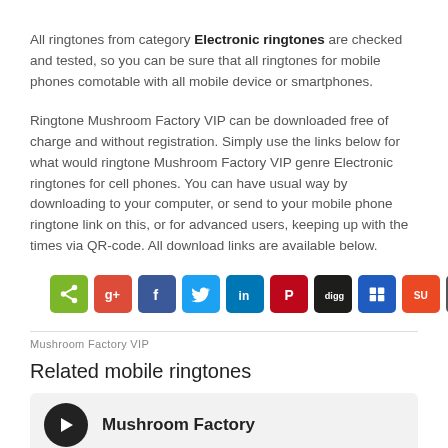All ringtones from category Electronic ringtones are checked and tested, so you can be sure that all ringtones for mobile phones comotable with all mobile device or smartphones.
Ringtone Mushroom Factory VIP can be downloaded free of charge and without registration. Simply use the links below for what would ringtone Mushroom Factory VIP genre Electronic ringtones for cell phones. You can have usual way by downloading to your computer, or send to your mobile phone ringtone link on this, or for advanced users, keeping up with the times via QR-code. All download links are available below.
[Figure (infographic): Row of social share icon buttons: share (green), Google+ (red), Facebook (blue), Twitter (light blue), LinkedIn (blue), Pinterest (red), digg (black), Delicious (blue), StumbleUpon (orange-red), Email (dark gray)]
Mushroom Factory VIP
Related mobile ringtones
Mushroom Factory